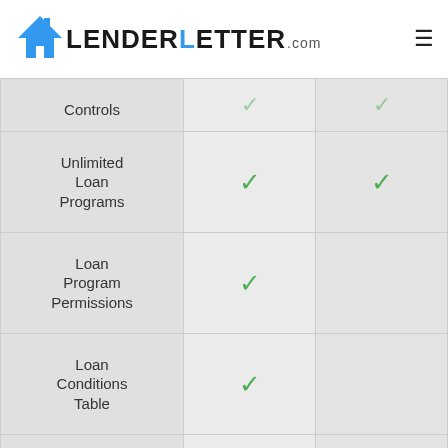[Figure (logo): LenderLetter.com logo with blue house icon]
| Feature | Plan 2 | Plan 3 |
| --- | --- | --- |
| Controls | ✓ | ✓ |
| Unlimited Loan Programs | ✓ | ✓ |
| Loan Program Permissions | ✓ |  |
| Loan Conditions Table | ✓ |  |
| Verified | ✓ |  |